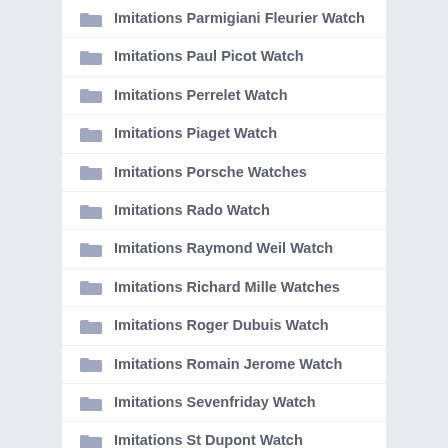Imitations Parmigiani Fleurier Watch
Imitations Paul Picot Watch
Imitations Perrelet Watch
Imitations Piaget Watch
Imitations Porsche Watches
Imitations Rado Watch
Imitations Raymond Weil Watch
Imitations Richard Mille Watches
Imitations Roger Dubuis Watch
Imitations Romain Jerome Watch
Imitations Sevenfriday Watch
Imitations St Dupont Watch